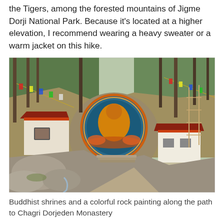the Tigers, among the forested mountains of Jigme Dorji National Park. Because it's located at a higher elevation, I recommend wearing a heavy sweater or a warm jacket on this hike.
[Figure (photo): Buddhist shrines and a colorful rock painting (thangka-style) along a rocky mountain path, surrounded by pine forest, leading to Chagri Dorjeden Monastery in Bhutan.]
Buddhist shrines and a colorful rock painting along the path to Chagri Dorjeden Monastery